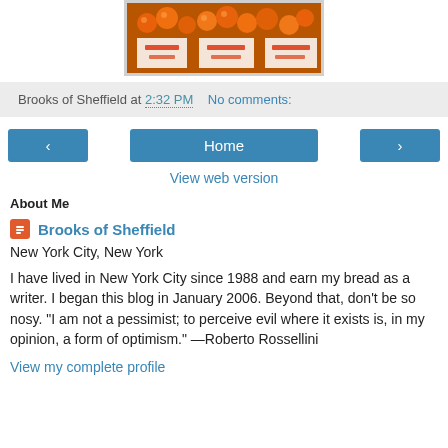[Figure (photo): Photo of orange fruits/tangerines displayed in boxes at a market stall]
Brooks of Sheffield at 2:32 PM    No comments:
[Figure (infographic): Navigation row with left arrow button, Home button, and right arrow button]
View web version
About Me
Brooks of Sheffield
New York City, New York
I have lived in New York City since 1988 and earn my bread as a writer. I began this blog in January 2006. Beyond that, don't be so nosy. "I am not a pessimist; to perceive evil where it exists is, in my opinion, a form of optimism." —Roberto Rossellini
View my complete profile